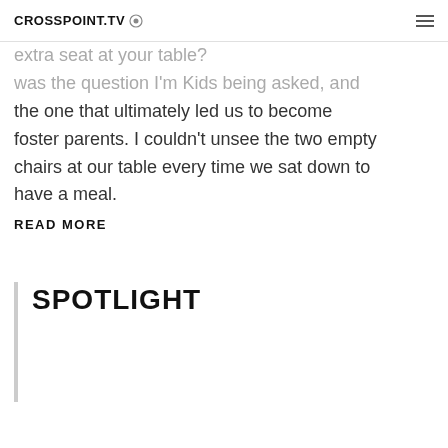CROSSPOINT.TV
extra seat at your table? was the question I'm Kids being asked, and the one that ultimately led us to become foster parents. I couldn't unsee the two empty chairs at our table every time we sat down to have a meal.
READ MORE
SPOTLIGHT